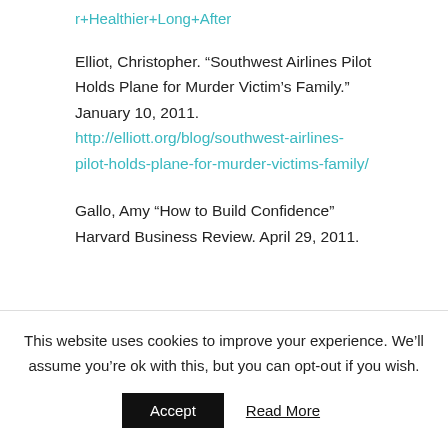r+Healthier+Long+After
Elliot, Christopher. “Southwest Airlines Pilot Holds Plane for Murder Victim’s Family.” January 10, 2011. http://elliott.org/blog/southwest-airlines-pilot-holds-plane-for-murder-victims-family/
Gallo, Amy “How to Build Confidence” Harvard Business Review. April 29, 2011.
This website uses cookies to improve your experience. We’ll assume you’re ok with this, but you can opt-out if you wish.